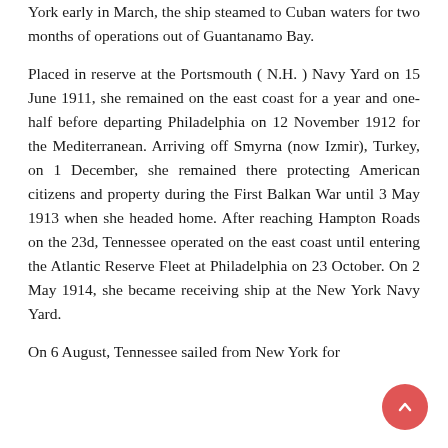York early in March, the ship steamed to Cuban waters for two months of operations out of Guantanamo Bay.
Placed in reserve at the Portsmouth ( N.H. ) Navy Yard on 15 June 1911, she remained on the east coast for a year and one-half before departing Philadelphia on 12 November 1912 for the Mediterranean. Arriving off Smyrna (now Izmir), Turkey, on 1 December, she remained there protecting American citizens and property during the First Balkan War until 3 May 1913 when she headed home. After reaching Hampton Roads on the 23d, Tennessee operated on the east coast until entering the Atlantic Reserve Fleet at Philadelphia on 23 October. On 2 May 1914, she became receiving ship at the New York Navy Yard.
On 6 August, Tennessee sailed from New York for